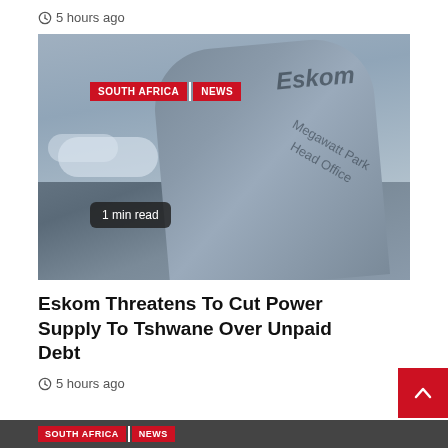5 hours ago
[Figure (photo): Eskom Megawatt Park Head Office building sign against a cloudy sky]
SOUTH AFRICA | NEWS
1 min read
Eskom Threatens To Cut Power Supply To Tshwane Over Unpaid Debt
5 hours ago
SOUTH AFRICA | NEWS